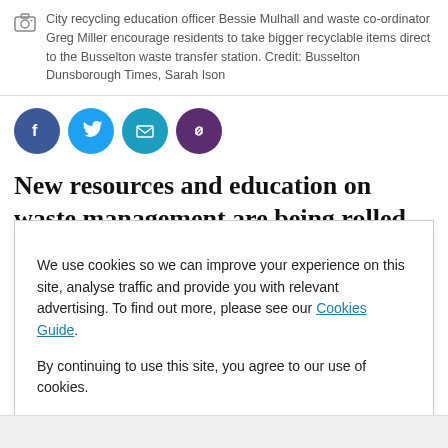City recycling education officer Bessie Mulhall and waste co-ordinator Greg Miller encourage residents to take bigger recyclable items direct to the Busselton waste transfer station. Credit: Busselton Dunsborough Times, Sarah Ison
[Figure (other): Social media share buttons: Facebook, Twitter, Email, Link]
New resources and education on waste management are being rolled out by the City of Busselton to ensure
We use cookies so we can improve your experience on this site, analyse traffic and provide you with relevant advertising. To find out more, please see our Cookies Guide.

By continuing to use this site, you agree to our use of cookies.